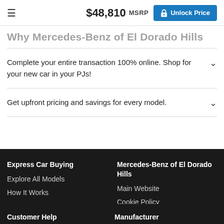$48,810 MSRP  Unlock Price
Why Mercedes-Benz of El Dorado Hills
Complete your entire transaction 100% online. Shop for your new car in your PJs!
Get upfront pricing and savings for every model.
Express Car Buying
Explore All Models
How It Works
Mercedes-Benz of El Dorado Hills
Main Website
Cookie Policy
Customer Help
Manufacturer